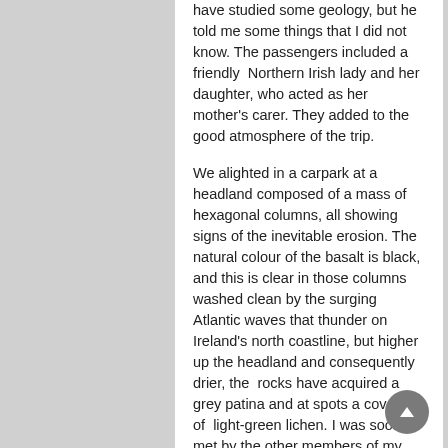have studied some geology, but he told me some things that I did not know. The passengers included a friendly  Northern Irish lady and her daughter, who acted as her mother's carer. They added to the good atmosphere of the trip.
We alighted in a carpark at a headland composed of a mass of hexagonal columns, all showing signs of the inevitable erosion. The natural colour of the basalt is black, and this is clear in those columns washed clean by the surging Atlantic waves that thunder on Ireland's north coastline, but higher up the headland and consequently drier, the  rocks have acquired a grey patina and at spots a covering of  light-green lichen. I was soon met by the other members of my party, my wife, son and four year old grandson. The grandson was thirsting for adventure, so my son took him on the easy scramble up the low headland, followed by my wife, Maureen. They